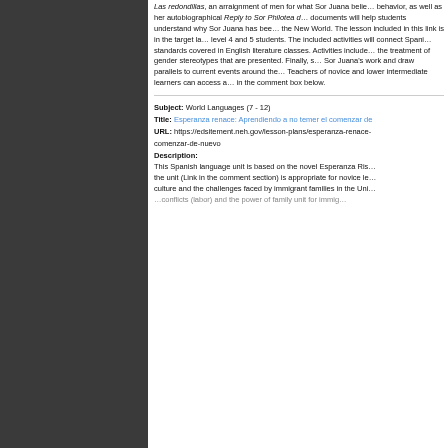Las redondillas, an arraignment of men for what Sor Juana believed to be their hypocritical behavior, as well as her autobiographical Reply to Sor Philotea de la Cruz. These primary documents will help students understand why Sor Juana has been called the first feminist of the New World. The lesson included in this link is in the target language and geared toward level 4 and 5 students. The included activities will connect Spanish language standards to standards covered in English literature classes. Activities include a discussion and analysis of the treatment of gender stereotypes that are presented. Finally, students will reflect on Sor Juana's work and draw parallels to current events around the world. Teachers of novice and lower intermediate learners can access a modified version of the lesson in the comment box below.
Subject: World Languages (7 - 12)
Title: Esperanza renace: Aprendiendo a no temer el comenzar de nuevo
URL: https://edsitement.neh.gov/lesson-plans/esperanza-renace-aprendiendo-no-temer-el-comenzar-de-nuevo
Description:
This Spanish language unit is based on the novel Esperanza Rising. The unit (Link in the comment section) is appropriate for novice learners. It explores culture and the challenges faced by immigrant families in the United States. It covers conflicts (labor) and the power of family unit for immigrant...